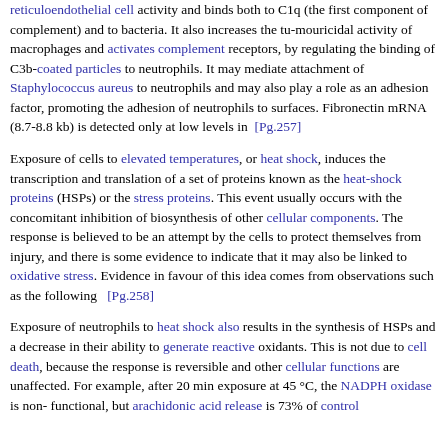reticuloendothelial cell activity and binds both to C1q (the first component of complement) and to bacteria. It also increases the tu-mouricidal activity of macrophages and activates complement receptors, by regulating the binding of C3b-coated particles to neutrophils. It may mediate attachment of Staphylococcus aureus to neutrophils and may also play a role as an adhesion factor, promoting the adhesion of neutrophils to surfaces. Fibronectin mRNA (8.7-8.8 kb) is detected only at low levels in [Pg.257]
Exposure of cells to elevated temperatures, or heat shock, induces the transcription and translation of a set of proteins known as the heat-shock proteins (HSPs) or the stress proteins. This event usually occurs with the concomitant inhibition of biosynthesis of other cellular components. The response is believed to be an attempt by the cells to protect themselves from injury, and there is some evidence to indicate that it may also be linked to oxidative stress. Evidence in favour of this idea comes from observations such as the following [Pg.258]
Exposure of neutrophils to heat shock also results in the synthesis of HSPs and a decrease in their ability to generate reactive oxidants. This is not due to cell death, because the response is reversible and other cellular functions are unaffected. For example, after 20 min exposure at 45 °C, the NADPH oxidase is non-functional, but arachidonic acid release is 73% of control